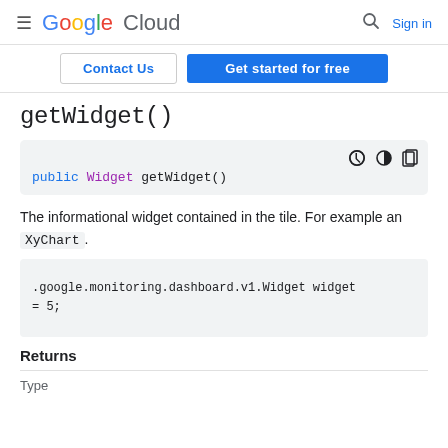Google Cloud — Sign in
Contact Us | Get started for free
getWidget()
public Widget getWidget()
The informational widget contained in the tile. For example an XyChart.
.google.monitoring.dashboard.v1.Widget widget = 5;
Returns
| Type |
| --- |